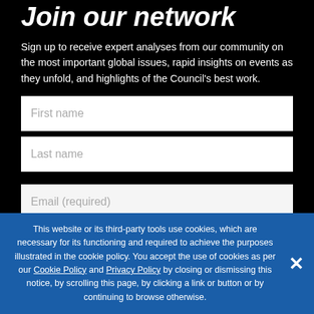Join our network
Sign up to receive expert analyses from our community on the most important global issues, rapid insights on events as they unfold, and highlights of the Council's best work.
First name
Last name
Email (required)
This website or its third-party tools use cookies, which are necessary for its functioning and required to achieve the purposes illustrated in the cookie policy. You accept the use of cookies as per our Cookie Policy and Privacy Policy by closing or dismissing this notice, by scrolling this page, by clicking a link or button or by continuing to browse otherwise.